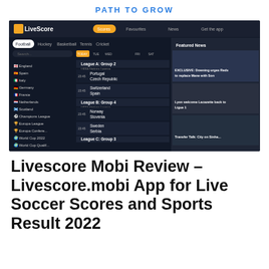PATH TO GROW
[Figure (screenshot): Screenshot of the LiveScore website showing football scores interface with dark background, navigation menu including Football, Hockey, Basketball, Tennis, Cricket tabs, match listings for League A Group 2 and League B Group 4 UEFA Nations League games including Portugal vs Czech Republic, Switzerland vs Spain, Norway vs Slovenia, Sweden vs Serbia, and a Featured News sidebar with articles about Downing urging Reds to replace Mane with Son, Lyon welcoming Lacazette back to Ligue 1, and Transfer Talk.]
Livescore Mobi Review – Livescore.mobi App for Live Soccer Scores and Sports Result 2022